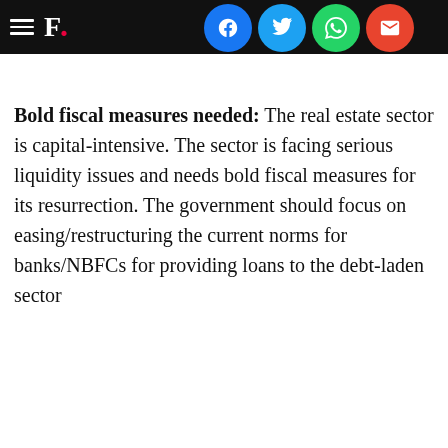F. [Financial Express logo with hamburger menu and social share icons]
Bold fiscal measures needed: The real estate sector is capital-intensive. The sector is facing serious liquidity issues and needs bold fiscal measures for its resurrection. The government should focus on easing/restructuring the current norms for banks/NBFCs for providing loans to the debt-laden sector